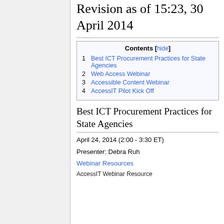Revision as of 15:23, 30 April 2014
1 Best ICT Procurement Practices for State Agencies
2 Web Access Webinar
3 Accessible Content Webinar
4 AccessIT Pilot Kick Off
Best ICT Procurement Practices for State Agencies
April 24, 2014 (2:00 - 3:30 ET)
Presenter: Debra Ruh
Webinar Resources
AccessIT Webinar Resource